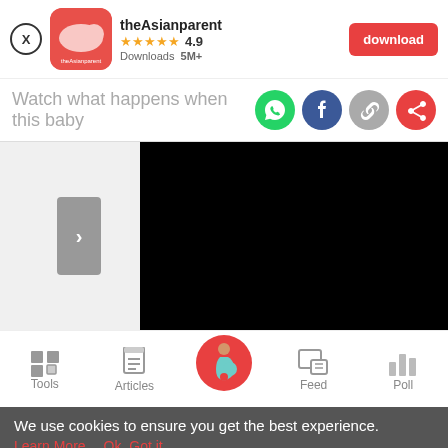[Figure (screenshot): App banner with close button, app icon (theAsianparent), app name, star rating 4.9, Downloads 5M+, and a red download button]
Watch what happens when this baby
[Figure (screenshot): Video player area with dark content panel and navigation arrow]
[Figure (screenshot): Bottom navigation bar with Tools, Articles, Home (pregnancy icon), Feed, Poll]
We use cookies to ensure you get the best experience.
Learn More   Ok, Got it